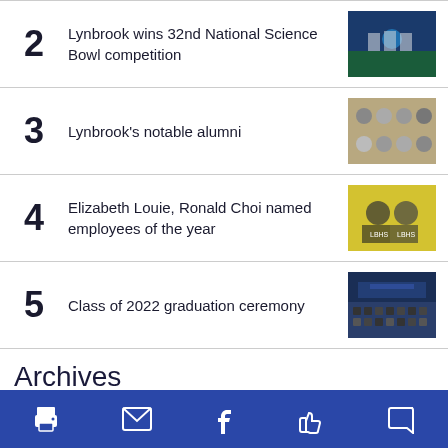2 Lynbrook wins 32nd National Science Bowl competition
3 Lynbrook's notable alumni
4 Elizabeth Louie, Ronald Choi named employees of the year
5 Class of 2022 graduation ceremony
Archives
Select Month